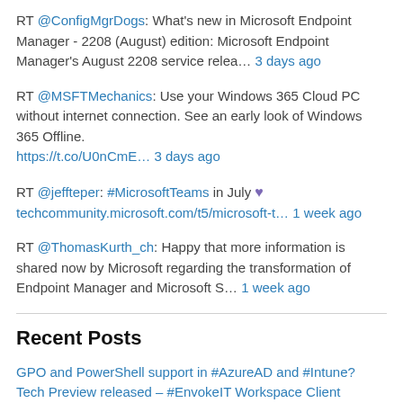RT @ConfigMgrDogs: What's new in Microsoft Endpoint Manager - 2208 (August) edition: Microsoft Endpoint Manager's August 2208 service relea… 3 days ago
RT @MSFTMechanics: Use your Windows 365 Cloud PC without internet connection. See an early look of Windows 365 Offline. https://t.co/U0nCmE… 3 days ago
RT @jeffteper: #MicrosoftTeams in July 💜 techcommunity.microsoft.com/t5/microsoft-t… 1 week ago
RT @ThomasKurth_ch: Happy that more information is shared now by Microsoft regarding the transformation of Endpoint Manager and Microsoft S… 1 week ago
Recent Posts
GPO and PowerShell support in #AzureAD and #Intune? Tech Preview released – #EnvokeIT Workspace Client
#Azure Newsletter...